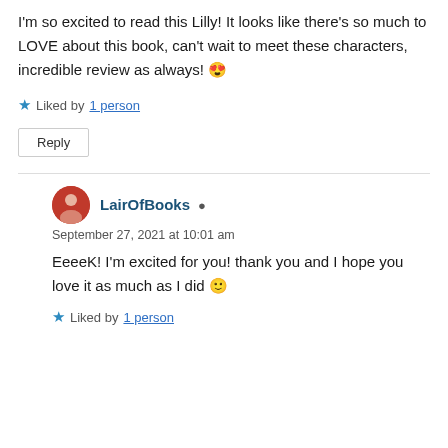I'm so excited to read this Lilly! It looks like there's so much to LOVE about this book, can't wait to meet these characters, incredible review as always! 😍
★ Liked by 1 person
Reply
LairOfBooks
September 27, 2021 at 10:01 am
EeeeK! I'm excited for you! thank you and I hope you love it as much as I did 🙂
★ Liked by 1 person